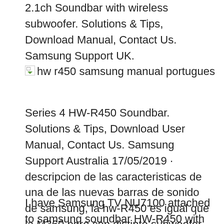2.1ch Soundbar with wireless subwoofer. Solutions & Tips, Download Manual, Contact Us. Samsung Support UK.
[Figure (other): Broken image placeholder with alt text: hw r450 samsung manual portugues]
Series 4 HW-R450 Soundbar. Solutions & Tips, Download User Manual, Contact Us. Samsung Support Australia 17/05/2019 · descripcion de las caracteristicas de una de las nuevas barras de sonido de samsung, la hw-R450 es igual que la M360 pero con distinto subwoofer link a la web de Samsung ...
I have Samsung TV NU7100 attached to samsung soundbar HW-R450 with an optical